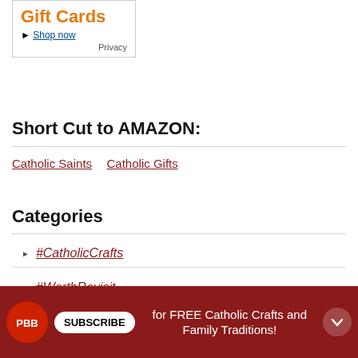[Figure (screenshot): Amazon Gift Cards advertisement box with orange 'Gift Cards' text, 'Shop now' link, and 'Privacy' label]
Short Cut to AMAZON:
Catholic Saints  Catholic Gifts
Categories
#CatholicCrafts
#WorthRevisit
7 Quick Takes
SUBSCRIBE for FREE Catholic Crafts and Family Traditions!